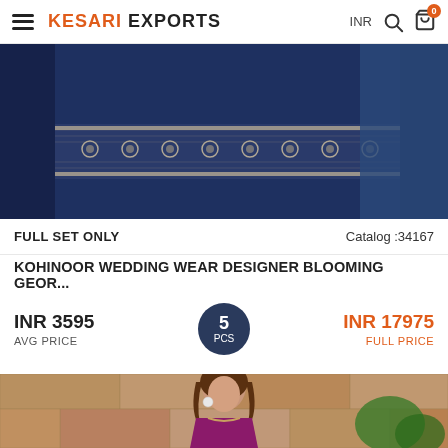KESARI EXPORTS — INR 0
[Figure (photo): Close-up of an embroidered dark navy blue and cream Indian wedding wear fabric/lehenga with intricate floral and geometric embroidery patterns]
FULL SET ONLY Catalog :34167
KOHINOOR WEDDING WEAR DESIGNER BLOOMING GEOR...
INR 3595 AVG PRICE  |  5 PCS  |  INR 17975 FULL PRICE
[Figure (photo): A woman wearing a magenta/purple Indian salwar kameez with gold embroidery at neckline, standing in front of a stone wall with plants]